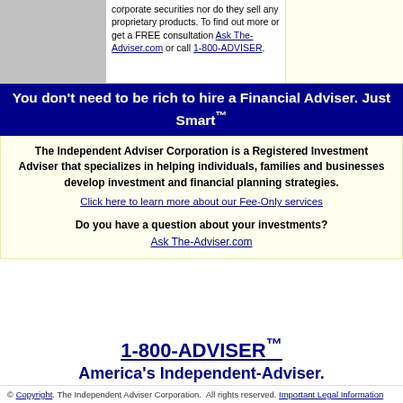corporate securities nor do they sell any proprietary products. To find out more or get a FREE consultation Ask The-Adviser.com or call 1-800-ADVISER.
You don't need to be rich to hire a Financial Adviser. Just Smart™
The Independent Adviser Corporation is a Registered Investment Adviser that specializes in helping individuals, families and businesses develop investment and financial planning strategies.
Click here to learn more about our Fee-Only services
Do you have a question about your investments?
Ask The-Adviser.com
1-800-ADVISER™
America's Independent-Adviser.
© Copyright. The Independent Adviser Corporation.  All rights reserved. Important Legal Information